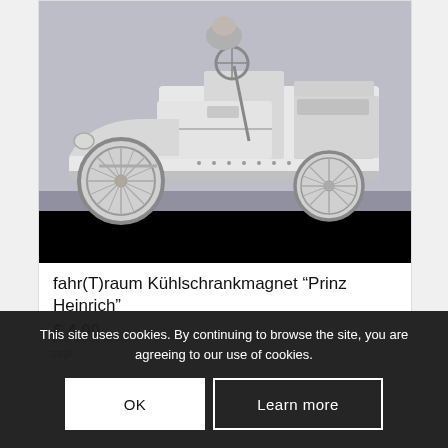[Figure (photo): Vintage black and white photograph of an early automobile (open-top touring car / Prince Heinrich style), side view showing the chassis, spoke wheels, and open bodywork.]
fahr(T)raum Kühlschrankmagnet “Prinz Heinrich”
€ 4,00
Inkl. 20 % MwSt.
zzgl.
This site uses cookies. By continuing to browse the site, you are agreeing to our use of cookies.
OK
Learn more